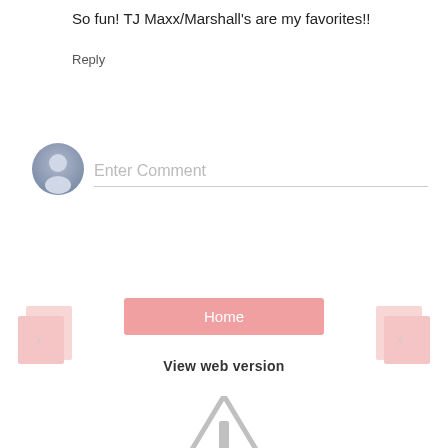So fun! TJ Maxx/Marshall's are my favorites!!
Reply
[Figure (illustration): User avatar icon — gray silhouette of a person on a blue-gray circular gradient background, used as a comment input placeholder avatar]
Enter Comment
[Figure (illustration): Pink folder/page navigation icon pointing left (previous)]
Home
[Figure (illustration): Pink folder/page navigation icon pointing right (next)]
View web version
[Figure (illustration): Gray warning triangle icon with exclamation mark, partially visible at bottom of page]